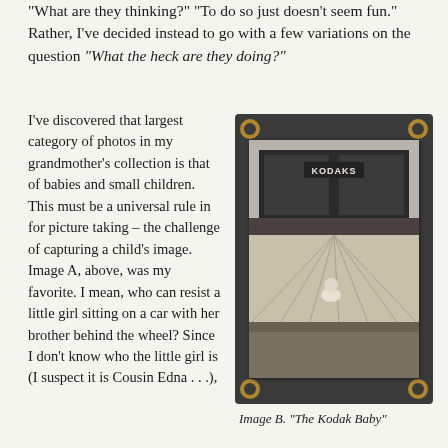"What are they thinking?" "To do so just doesn't seem fun." Rather, I've decided instead to go with a few variations on the question "What the heck are they doing?"
I've discovered that largest category of photos in my grandmother's collection is that of babies and small children. This must be a universal rule in for picture taking – the challenge of capturing a child's image. Image A, above, was my favorite. I mean, who can resist a little girl sitting on a car with her brother behind the wheel? Since I don't know who the little girl is (I suspect it is Cousin Edna…),
[Figure (photo): Black and white vintage photograph mounted on dark album page with gold corner mounts. Shows a baby or small child sitting on a wooden porch/boardwalk in front of a Kodaks store/sign. The photo has a white border typical of old photographs.]
Image B. "The Kodak Baby"